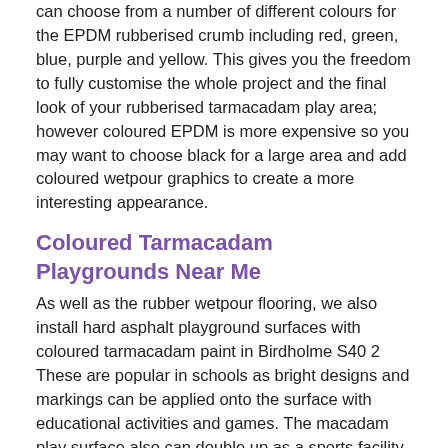can choose from a number of different colours for the EPDM rubberised crumb including red, green, blue, purple and yellow. This gives you the freedom to fully customise the whole project and the final look of your rubberised tarmacadam play area; however coloured EPDM is more expensive so you may want to choose black for a large area and add coloured wetpour graphics to create a more interesting appearance.
Coloured Tarmacadam Playgrounds Near Me
As well as the rubber wetpour flooring, we also install hard asphalt playground surfaces with coloured tarmacadam paint in Birdholme S40 2 These are popular in schools as bright designs and markings can be applied onto the surface with educational activities and games. The macadam play surface also can double up as a sports facility for tennis, basketball and netball. Learn more about tarmacadam paint here - http://www.colouredtarmac.co.uk/tarmac-paint/derbyshire/birdholme/ to find out everything you need to know to get the best possible results.
Please fill in our enquiry box to discuss more details about wetpour and tarmacadam playarea surfaces closest to you. One of our local